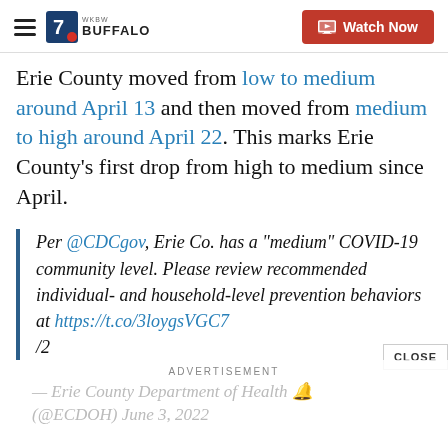WKBW 7 BUFFALO — Watch Now
Erie County moved from low to medium around April 13 and then moved from medium to high around April 22. This marks Erie County's first drop from high to medium since April.
Per @CDCgov, Erie Co. has a "medium" COVID-19 community level. Please review recommended individual- and household-level prevention behaviors at https://t.co/3loygsVGC7 /2
CLOSE
ADVERTISEMENT
— Erie County Department of Health 🔔 (@ECDOH) June 3, 2022